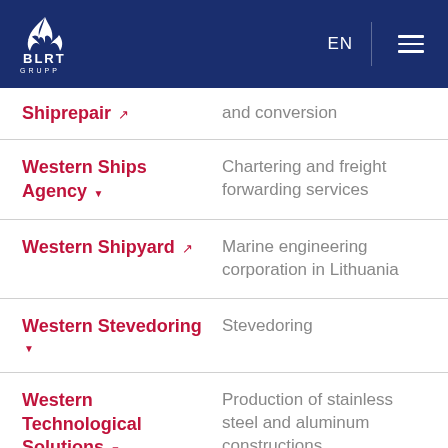BLRT GRUPP — EN — Navigation menu
Shiprepair [external link] | and conversion
Western Ships Agency [dropdown] | Chartering and freight forwarding services
Western Shipyard [external link] | Marine engineering corporation in Lithuania
Western Stevedoring [dropdown] | Stevedoring
Western Technological Solutions [dropdown] | Production of stainless steel and aluminum constructions